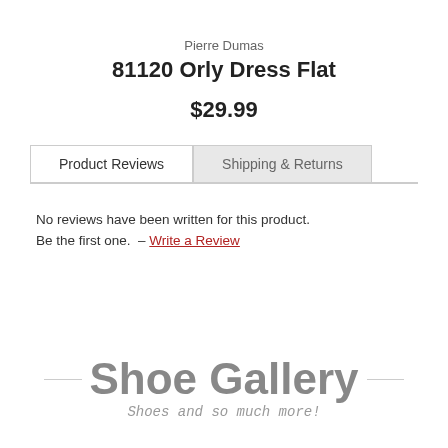Pierre Dumas
81120 Orly Dress Flat
$29.99
Product Reviews | Shipping & Returns
No reviews have been written for this product.
Be the first one.  – Write a Review
[Figure (logo): Shoe Gallery logo with tagline 'Shoes and so much more!']